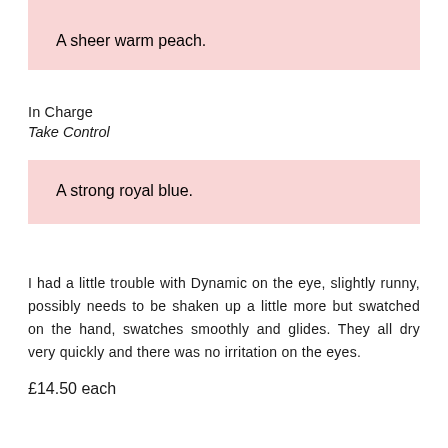A sheer warm peach.
In Charge
Take Control
A strong royal blue.
I had a little trouble with Dynamic on the eye, slightly runny, possibly needs to be shaken up a little more but swatched on the hand, swatches smoothly and glides. They all dry very quickly and there was no irritation on the eyes.
£14.50 each